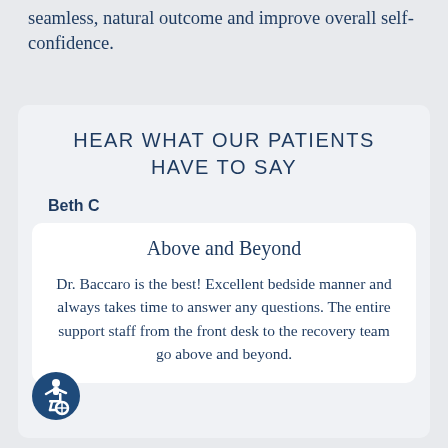seamless, natural outcome and improve overall self-confidence.
HEAR WHAT OUR PATIENTS HAVE TO SAY
Beth C
Above and Beyond
Dr. Baccaro is the best! Excellent bedside manner and always takes time to answer any questions. The entire support staff from the front desk to the recovery team go above and beyond.
[Figure (illustration): Accessibility icon - circular blue badge with wheelchair user symbol]